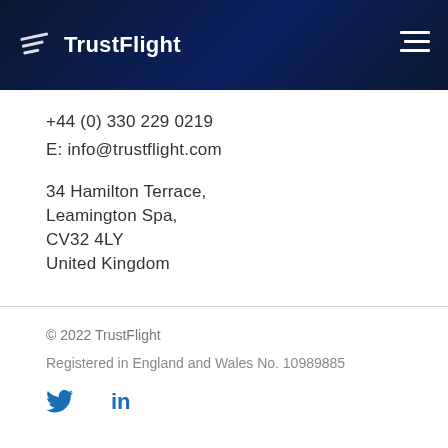TrustFlight
+44 (0) 330 229 0219
E: info@trustflight.com
34 Hamilton Terrace,
Leamington Spa,
CV32 4LY
United Kingdom
© 2022 TrustFlight
Registered in England and Wales No. 10989885
[Figure (logo): Twitter and LinkedIn social media icons in blue]